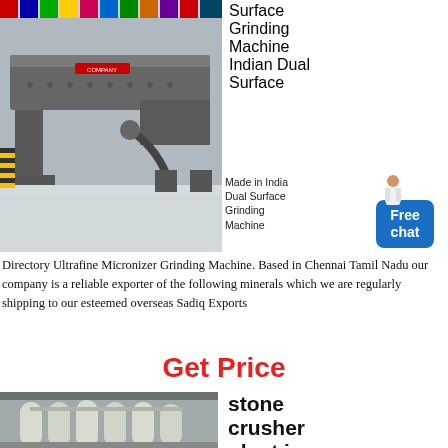[Figure (photo): Industrial grinding machine in a factory setting with flags visible in background]
Surface Grinding Machine Indian Dual Surface
Made in India Dual Surface Grinding Machine
[Figure (infographic): Chat assistant bubble with Free chat label and person illustration]
Directory Ultrafine Micronizer Grinding Machine. Based in Chennai Tamil Nadu our company is a reliable exporter of the following minerals which we are regularly shipping to our esteemed overseas Sadiq Exports
Get Price
[Figure (photo): Stone crusher plant with large cylindrical silos/filters in a warehouse]
stone crusher plant in uganda